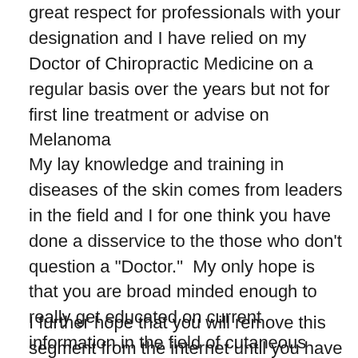great respect for professionals with your designation and I have relied on my Doctor of Chiropractic Medicine on a regular basis over the years but not for first line treatment or advise on Melanoma
My lay knowledge and training in diseases of the skin comes from leaders in the field and I for one think you have done a disservice to the those who don't question a "Doctor."  My only hope is that you are broad minded enough to really get educated on current information in the field of cutaneous disease  and not to make the flawed conclusions and statements that might lead individuals to making critical errors in their care or the care of others.
I further hope that you will remove this segment from the internet until you have the opportunity to seek out the very